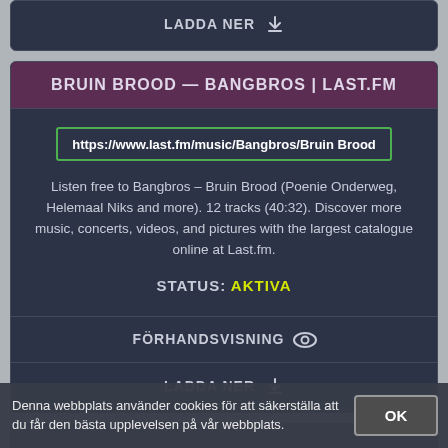LADDA NER
BRUIN BROOD — BANGBROS | LAST.FM
https://www.last.fm/music/Bangbros/Bruin Brood
Listen free to Bangbros – Bruin Brood (Poenie Onderweg, Helemaal Niks and more). 12 tracks (40:32). Discover more music, concerts, videos, and pictures with the largest catalogue online at Last.fm.
STATUS: AKTIVA
FÖRHANDSVISNING
LADDA NER
Denna webbplats använder cookies för att säkerställa att du får den bästa upplevelsen på vår webbplats.